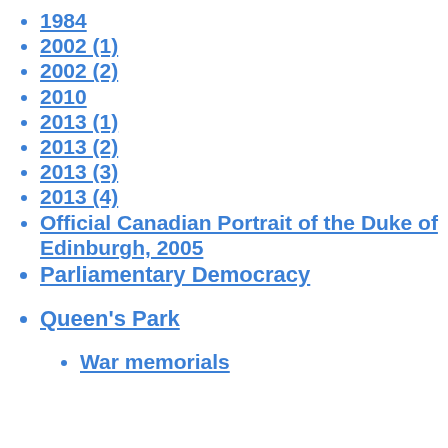1984
2002 (1)
2002 (2)
2010
2013 (1)
2013 (2)
2013 (3)
2013 (4)
Official Canadian Portrait of the Duke of Edinburgh, 2005
Parliamentary Democracy
Queen's Park
War memorials